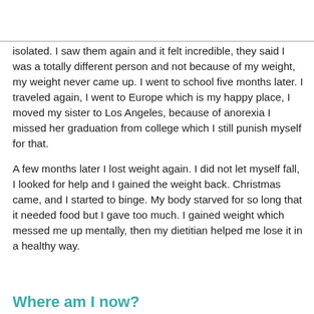isolated. I saw them again and it felt incredible, they said I was a totally different person and not because of my weight, my weight never came up. I went to school five months later. I traveled again, I went to Europe which is my happy place, I moved my sister to Los Angeles, because of anorexia I missed her graduation from college which I still punish myself for that.
A few months later I lost weight again. I did not let myself fall, I looked for help and I gained the weight back. Christmas came, and I started to binge. My body starved for so long that it needed food but I gave too much. I gained weight which messed me up mentally, then my dietitian helped me lose it in a healthy way.
Where am I now?